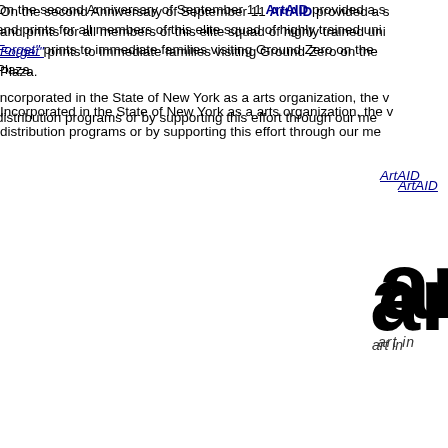On the second Anniversary of September 11 ArtAID provided a s... and prints for all members of this elite squad of highly trained uni... "Forget" prints to immediate families visiting Ground Zero on the... Plaza.
Incorporated in the State of New York as a arts organization, the v... distribution programs or by supporting this effort through our me...
ArtAID...
[Figure (logo): ArtAID logo - large 'ar' text with italic tagline 'art in...']
FOR FURT...
EM...
inf...
CLICK HERE...
©ArtAID 2011 Art in Serv... created by Keith ...